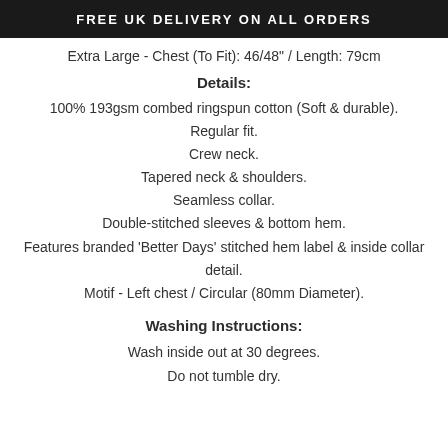FREE UK DELIVERY ON ALL ORDERS
Extra Large - Chest (To Fit): 46/48" / Length: 79cm
Details:
100% 193gsm combed ringspun cotton (Soft & durable).
Regular fit.
Crew neck.
Tapered neck & shoulders.
Seamless collar.
Double-stitched sleeves & bottom hem.
Features branded 'Better Days' stitched hem label & inside collar detail.
Motif - Left chest / Circular (80mm Diameter).
Washing Instructions:
Wash inside out at 30 degrees.
Do not tumble dry.